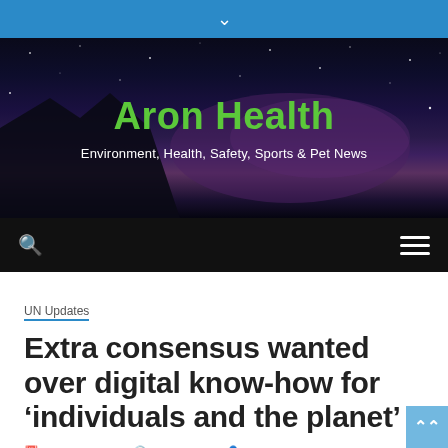Aron Health — Environment, Health, Safety, Sports & Pet News
[Figure (screenshot): Website header with starry night sky background showing 'Aron Health' in green bold text and subtitle 'Environment, Health, Safety, Sports & Pet News' in white]
UN Updates
Extra consensus wanted over digital know-how for 'individuals and the planet'
May 24, 2022  6 min read  Team AH